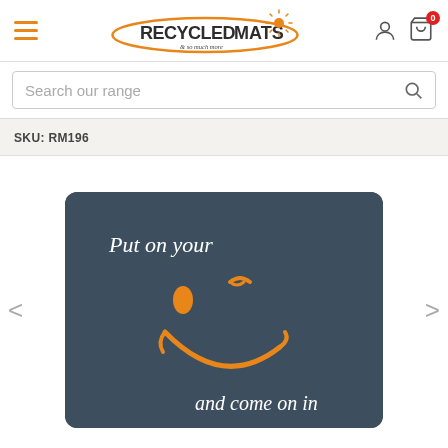RecycledMats - & so much more
Search our range
SKU: RM196
[Figure (photo): Product image on dark teal background showing a winking smiley face in orange/gold with text 'Put on your' at top left and 'and come on in' at bottom right, displayed as a welcome mat product.]